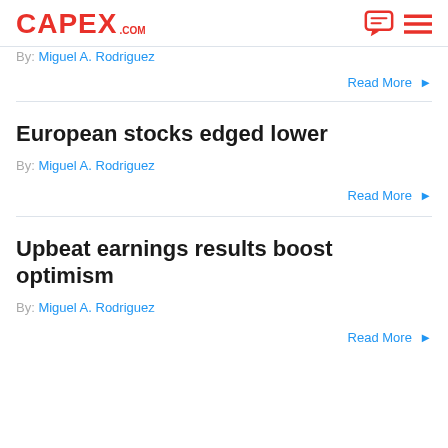CAPEX .COM
By: Miguel A. Rodriguez
Read More ▶
European stocks edged lower
By: Miguel A. Rodriguez
Read More ▶
Upbeat earnings results boost optimism
By: Miguel A. Rodriguez
Read More ▶